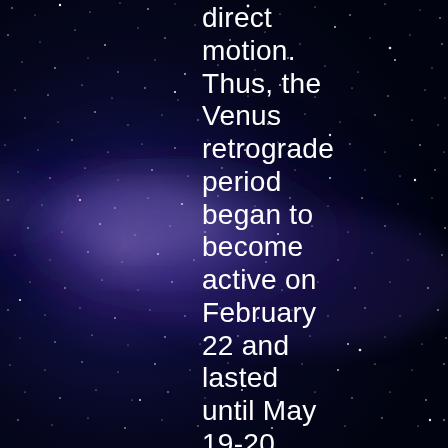[Figure (photo): Deep space night sky photo showing the Milky Way galaxy with blue-purple nebula and stars on a dark background]
direct motion. Thus, the Venus retrograde period began to become active on February 22 and lasted until May 19-20. These dates do not correspond to the